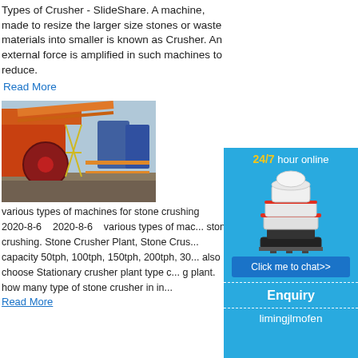Types of Crusher - SlideShare. A machine, made to resize the larger size stones or waste materials into smaller is known as Crusher. An external force is amplified in such machines to reduce.
Read More
[Figure (photo): Industrial orange stone crusher machine at a plant with conveyor belts and machinery]
various types of machines for stone crushing
2020-8-6    2020-8-6    various types of machines for stone crushing. Stone Crusher Plant, Stone Crusher Plant capacity 50tph, 100tph, 150tph, 200tph, 30... also choose Stationary crusher plant type or... plant. how many type of stone crusher in in...
Read More
[Figure (infographic): Blue sidebar advertisement with '24/7 hour online' text in yellow and white, white cone crusher machine image, blue 'Click me to chat>>' button, 'Enquiry' text, and 'limingjlmofen' text]